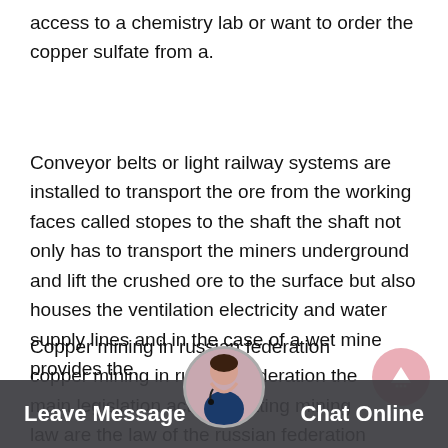access to a chemistry lab or want to order the copper sulfate from a.
Conveyor belts or light railway systems are installed to transport the ore from the working faces called stopes to the shaft the shaft not only has to transport the miners underground and lift the crushed ore to the surface but also houses the ventilation electricity and water supply lines and in the case of a wet mine provides the.
Copper mining in russian federation copper mining in russian federation the main legislation acts regulating mining law are the law of the russian federation no 23951 dated ed from 03082018 oil the subsoil law federal law on precious metals and precious stones federal law on
[Figure (other): Pink circular scroll-up button with upward arrow icon]
[Figure (other): Chat support bar at page bottom with 'Leave Message' on left, avatar in center, 'Chat Online' on right]